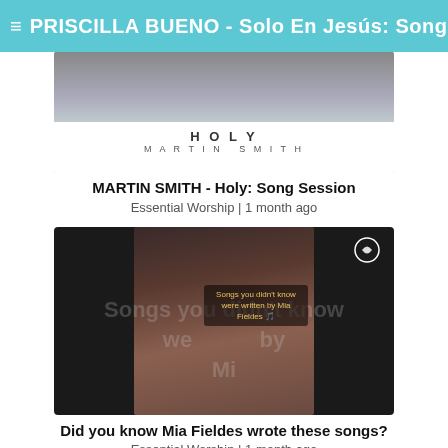≡ PRISCILLA BUENO - Solo En Jesús: Song ...
[Figure (screenshot): Thumbnail of Martin Smith Holy song session - shows microphone and album art with HOLY / MARTIN SMITH text]
MARTIN SMITH - Holy: Song Session
Essential Worship | 1 month ago
[Figure (screenshot): Thumbnail of video about songs written by Mia Fieldes - shows woman singing with overlay text 'Songs you didn't know were written by Mia Fieldes']
Did you know Mia Fieldes wrote these songs?
Essential Worship | 1 month ago
[Figure (screenshot): Thumbnail of another Essential Worship video - shows man singing with microphone against teal/blue background]